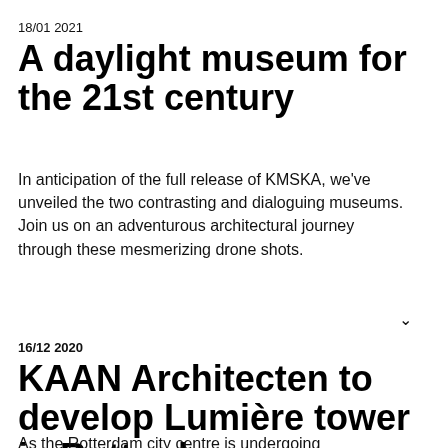18/01 2021
A daylight museum for the 21st century
In anticipation of the full release of KMSKA, we've unveiled the two contrasting and dialoguing museums. Join us on an adventurous architectural journey through these mesmerizing drone shots.
16/12 2020
KAAN Architecten to develop Lumière tower in Rotterdam
As the Rotterdam city centre is undergoing